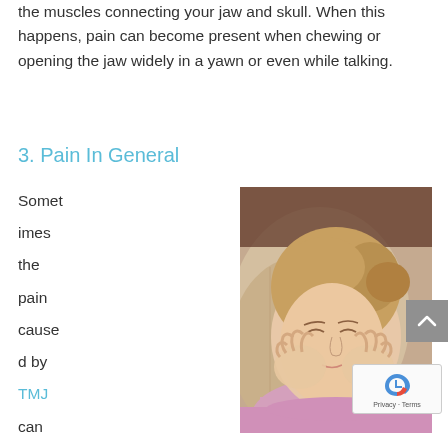the muscles connecting your jaw and skull. When this happens, pain can become present when chewing or opening the jaw widely in a yawn or even while talking.
3. Pain In General
Sometimes the pain caused by TMJ can manifest elsewhere. Headaches and pains in the neck are common, the
[Figure (photo): Woman lying on a pillow with her hands pressed against her jaw/cheeks, eyes closed, appearing to be in pain. She has blonde hair pulled back and is wearing a pink long-sleeve shirt.]